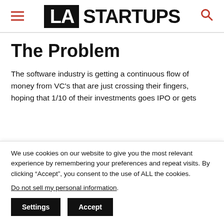LA STARTUPS
The Problem
The software industry is getting a continuous flow of money from VC's that are just crossing their fingers, hoping that 1/10 of their investments goes IPO or gets
We use cookies on our website to give you the most relevant experience by remembering your preferences and repeat visits. By clicking “Accept”, you consent to the use of ALL the cookies.
Do not sell my personal information.
Settings  Accept